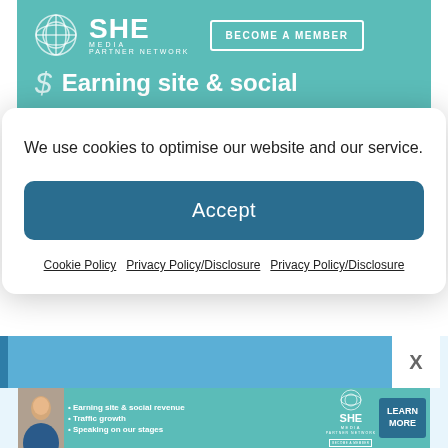[Figure (screenshot): SHE Media Partner Network banner with teal background, logo, 'BECOME A MEMBER' button, and 'Earning site & social' text partially visible]
We use cookies to optimise our website and our service.
Accept
Cookie Policy   Privacy Policy/Disclosure   Privacy Policy/Disclosure
[Figure (screenshot): Bottom section showing a blue bar with close X button and SHE Media ad banner with person image, bullet points ('Earning site & social revenue', 'Traffic growth', 'Speaking on our stages'), SHE Media logo, and 'LEARN MORE' button]